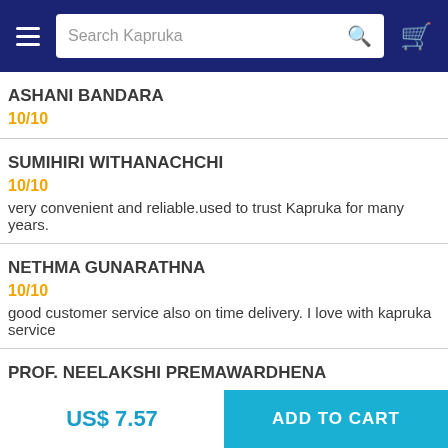Search Kapruka
ASHANI BANDARA
10/10
SUMIHIRI WITHANACHCHI
10/10
very convenient and reliable.used to trust Kapruka for many years.
NETHMA GUNARATHNA
10/10
good customer service also on time delivery. I love with kapruka service
PROF. NEELAKSHI PREMAWARDHENA
US$ 7.57
ADD TO CART